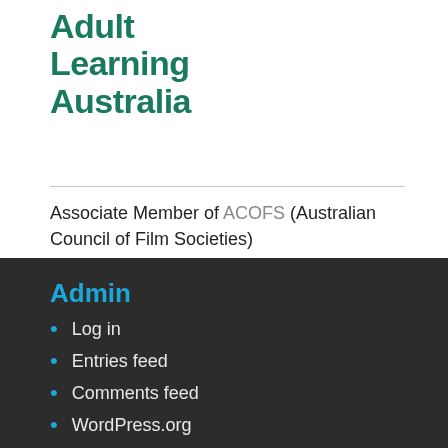[Figure (logo): Adult Learning Australia logo with bold teal/green text]
Associate Member of ACOFS (Australian Council of Film Societies)
Admin
Log in
Entries feed
Comments feed
WordPress.org